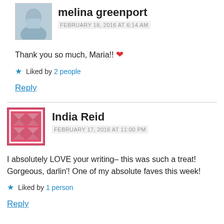[Figure (photo): Avatar photo of melina greenport, a person in light blue clothing]
melina greenport
FEBRUARY 18, 2016 AT 6:14 AM
Thank you so much, Maria!! ❤
★ Liked by 2 people
Reply
[Figure (illustration): Avatar icon for India Reid - pink/red quilt pattern square icon]
India Reid
FEBRUARY 17, 2016 AT 11:00 PM
I absolutely LOVE your writing– this was such a treat! Gorgeous, darlin'! One of my absolute faves this week!
★ Liked by 1 person
Reply